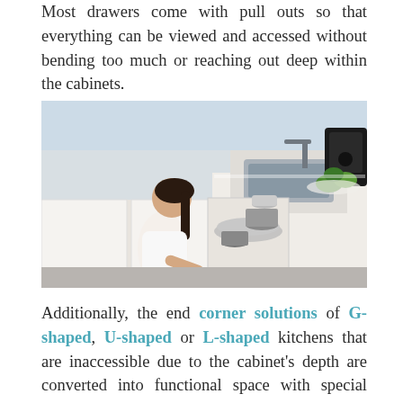Most drawers come with pull outs so that everything can be viewed and accessed without bending too much or reaching out deep within the cabinets.
[Figure (photo): A woman in white clothing crouching down and accessing pull-out storage from a corner kitchen cabinet. The kitchen has white cabinetry, a stainless steel sink, and green vegetables visible on the countertop.]
Additionally, the end corner solutions of G-shaped, U-shaped or L-shaped kitchens that are inaccessible due to the cabinet's depth are converted into functional space with special modular accessories.